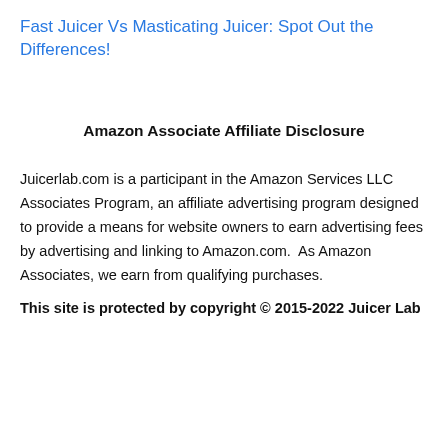Fast Juicer Vs Masticating Juicer: Spot Out the Differences!
Amazon Associate Affiliate Disclosure
Juicerlab.com is a participant in the Amazon Services LLC Associates Program, an affiliate advertising program designed to provide a means for website owners to earn advertising fees by advertising and linking to Amazon.com.  As Amazon Associates, we earn from qualifying purchases.
This site is protected by copyright © 2015-2022 Juicer Lab